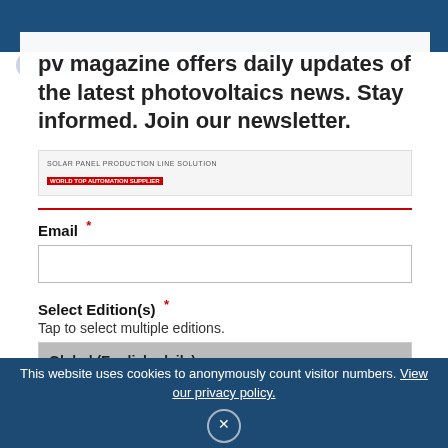pv magazine offers daily updates of the latest photovoltaics news. Stay informed. Join our newsletter.
Email *
Select Edition(s) *
Tap to select multiple editions.
Global (English, daily)
Germany (German, daily)
Read our Data Protection Policy.
2.2 GW of solar capacity was added to the Indian rooftop sector in 2019 according to Annual India Solar Report Card released recently by JMK Research & Analytics. The research company has lowered its expectation of rooftop solar installation capacity in 2020 to 2GW amid the lockdowns in India due to coronavirus pandemic.
For the rooftop sector, Growatt took 18% of the market
This website uses cookies to anonymously count visitor numbers. View our privacy policy.